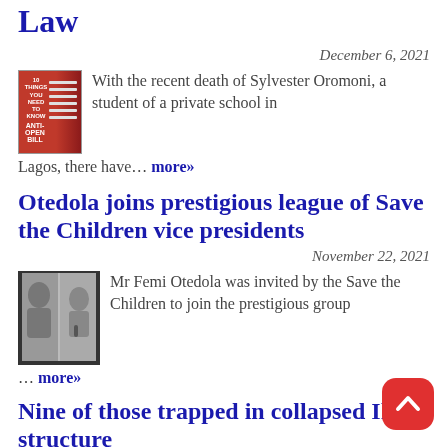Law
December 6, 2021
With the recent death of Sylvester Oromoni, a student of a private school in Lagos, there have… more»
Otedola joins prestigious league of Save the Children vice presidents
November 22, 2021
Mr Femi Otedola was invited by the Save the Children to join the prestigious group … more»
Nine of those trapped in collapsed Ikoyi structure